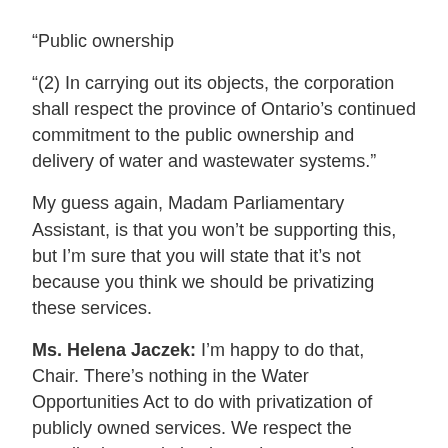“Public ownership
“(2) In carrying out its objects, the corporation shall respect the province of Ontario’s continued commitment to the public ownership and delivery of water and wastewater systems.”
My guess again, Madam Parliamentary Assistant, is that you won’t be supporting this, but I’m sure that you will state that it’s not because you think we should be privatizing these services.
Ms. Helena Jaczek: I’m happy to do that, Chair. There’s nothing in the Water Opportunities Act to do with privatization of publicly owned services. We respect the contribution made by those deputants who came to the hearings, that this was a fear they had. But we think that in motion 5, which we’ve already passed, we have made it very clear that the purposes of the proposed act do not include privatization.